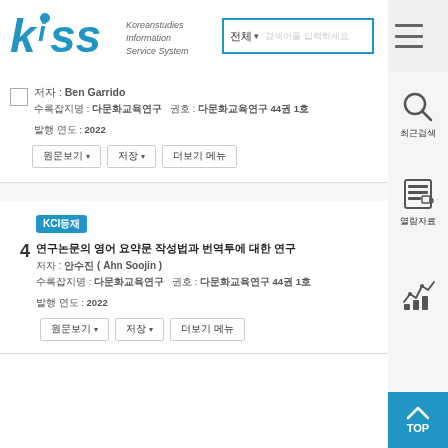[Figure (logo): KISS Koreanstudies Information Service System logo]
저자 : Ben Garrido
수록잡지명 : 다문화교육연구   권호 : 다문화교육연구 44권 1호   발행 연도 : 2022
KCI등재
4  연구논문의 영어 요약문 작성법과 번역투에 대한 연구
저자 : 안수진 ( Ahn Soojin )
수록잡지명 : 다문화교육연구   권호 : 다문화교육연구 44권 1호   발행 연도 : 2022
[Figure (illustration): Search magnifier icon with label 최근검색]
[Figure (illustration): Document/news icon with label 열람자료]
[Figure (illustration): Statistics bar chart icon]
[Figure (illustration): TOP button in blue]